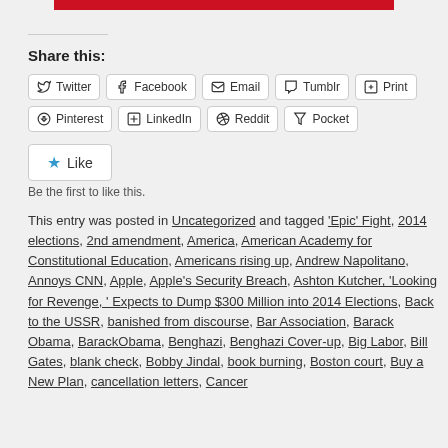Share this:
Twitter Facebook Email Tumblr Print Pinterest LinkedIn Reddit Pocket
Like
Be the first to like this.
This entry was posted in Uncategorized and tagged 'Epic' Fight, 2014 elections, 2nd amendment, America, American Academy for Constitutional Education, Americans rising up, Andrew Napolitano, Annoys CNN, Apple, Apple's Security Breach, Ashton Kutcher, 'Looking for Revenge, ' Expects to Dump $300 Million into 2014 Elections, Back to the USSR, banished from discourse, Bar Association, Barack Obama, BarackObama, Benghazi, Benghazi Cover-up, Big Labor, Bill Gates, blank check, Bobby Jindal, book burning, Boston court, Buy a New Plan, cancellation letters, Cancer